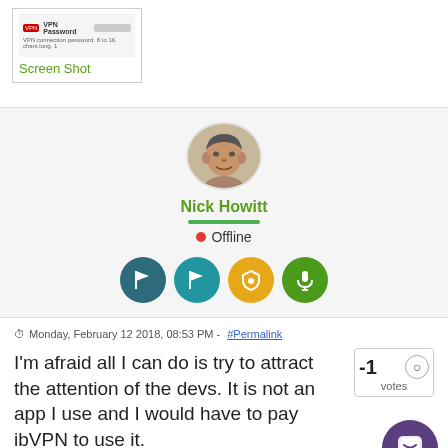[Figure (screenshot): Screenshot thumbnail showing VPN Password field with red badge, blurred password value, and text 'VPN connection password. 8 to 16 chars long. 1']
Screen Shot
[Figure (photo): Circular avatar photo of Nick Howitt]
Nick Howitt
● Offline
[Figure (infographic): Row of four circular icon buttons: dark teal flag, teal flag, yellow shield, green microphone]
Monday, February 12 2018, 08:53 PM - #Permalink
I'm afraid all I can do is try to attract the attention of the devs. It is not an app I use and I would have to pay ibVPN to use it.